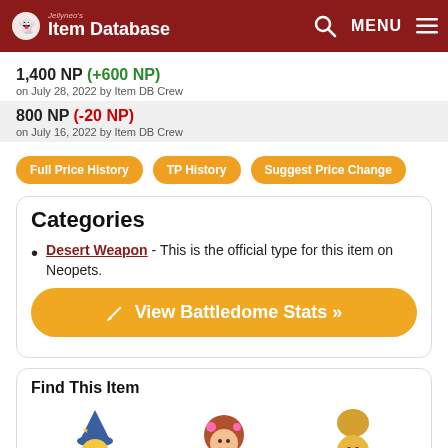Jellyneo's Item Database
1,400 NP (+600 NP) on July 28, 2022 by Item DB Crew
800 NP (-20 NP) on July 16, 2022 by Item DB Crew
Full Price History | TP History | Suggest Price Change
Categories
Desert Weapon - This is the official type for this item on Neopets.
View Battledome Stats »
Find This Item
[Figure (illustration): Three Neopets character illustrations: a wizard-hat character, a fairy character, and an armored character]